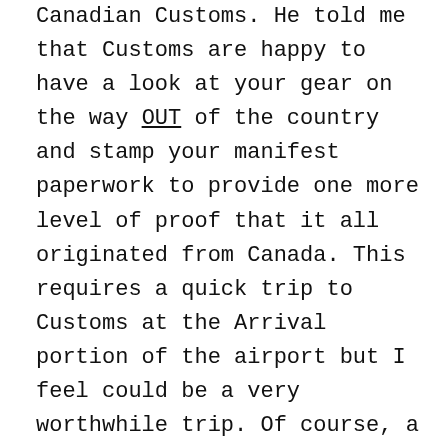Canadian Customs.  He told me that Customs are happy to have a look at your gear on the way OUT of the country and stamp your manifest paperwork to provide one more level of proof that it all originated from Canada.  This requires a quick trip to Customs at the Arrival portion of the airport but I feel could be a very worthwhile trip.  Of course, a Carnet is always better than any manifest / gear inventory but, let's be realistic, not every film project has the time and resources to get a carnet in place.

Why not just ship all the gear to Nepal you ask?  We certainly thought of this but after researching the option we concluded that it was going to cost a lot more money, take longer (there is always a tight schedule going in to a shoot), be potentially less reliable. It would